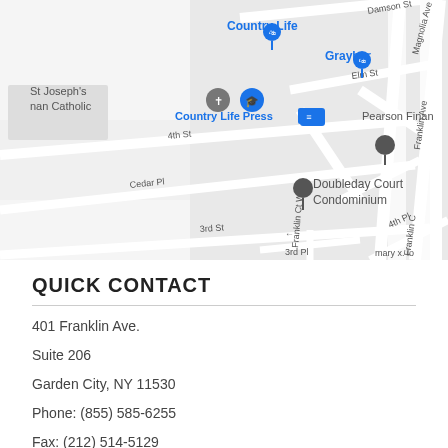[Figure (map): Street map showing the area around Franklin Ave in Garden City, NY. Landmarks visible include Country Life (with pin), Graybar (with pin), St Joseph's nan Catholic (with cross icon), Country Life Press (with transit icon), Pearson Financial (partial), and Doubleday Court Condominium (with pin). Streets labeled include Damson St, Magnolia Ave, Elm St, 4th St, Cedar Pl, Franklin Ave, 3rd St, 6th Pl, 4th Pl, Franklin Ct W, 3rd Pl, Franklin C, and mary x. lo (partial).]
QUICK CONTACT
401 Franklin Ave.
Suite 206
Garden City, NY 11530
Phone: (855) 585-6255
Fax: (212) 514-5129
Email: info@huntersure.com